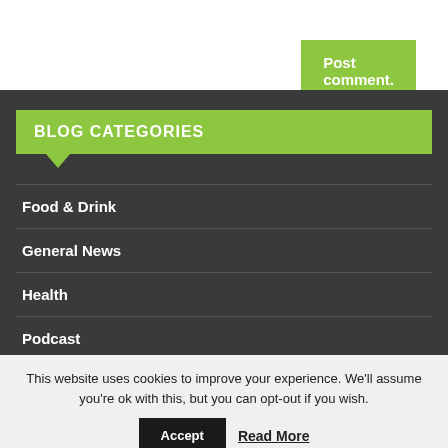[Figure (other): Partial logo or graphic visible at top left of page]
Post comment.
BLOG CATEGORIES
Food & Drink
General News
Health
Podcast
Q&A
This website uses cookies to improve your experience. We'll assume you're ok with this, but you can opt-out if you wish.
Accept
Read More